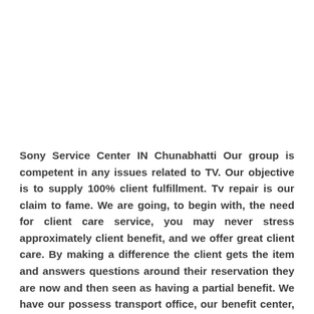Sony Service Center IN Chunabhatti Our group is competent in any issues related to TV. Our objective is to supply 100% client fulfillment. Tv repair is our claim to fame. We are going, to begin with, the need for client care service, you may never stress approximately client benefit, and we offer great client care. By making a difference the client gets the item and answers questions around their reservation they are now and then seen as having a partial benefit. We have our possess transport office, our benefit center, and multi-brand dealers. Sony Driven Tv Benefit Center IN CHUNABHATTI Our company group engineers are changing the repairing parts and we offer repairs to unique save parts in discuss conditioner adjusting at Mumbai cities. We show an exceptional benefit and repair in Mumbai we provide exceedingly qualified Specialists who are well prepared for our specialists to unravel all sorts of TV for case Driven, LCD, plasma screen, match OLED. We are specialist in repairing